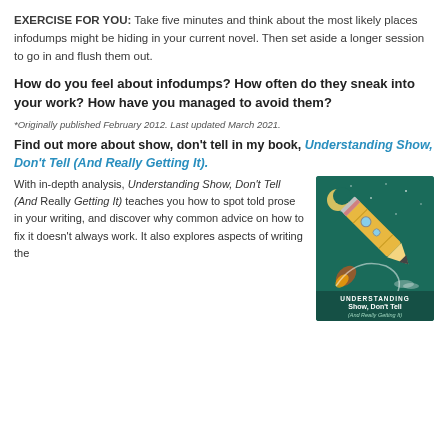EXERCISE FOR YOU: Take five minutes and think about the most likely places infodumps might be hiding in your current novel. Then set aside a longer session to go in and flush them out.
How do you feel about infodumps? How often do they sneak into your work? How have you managed to avoid them?
*Originally published February 2012. Last updated March 2021.
Find out more about show, don't tell in my book, Understanding Show, Don't Tell (And Really Getting It).
With in-depth analysis, Understanding Show, Don't Tell (And Really Getting It) teaches you how to spot told prose in your writing, and discover why common advice on how to fix it doesn't always work. It also explores aspects of writing the...
[Figure (illustration): Book cover of 'Understanding Show, Don't Tell (And Really Getting It)' — dark teal/green background with a pencil shaped as a rocket ship launching, moon in upper left, text at bottom reading UNDERSTANDING Show, Don't Tell (And Really Getting It)]